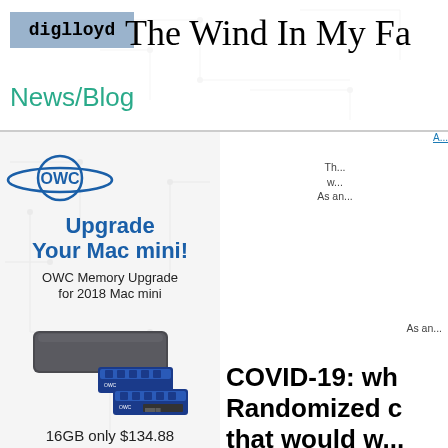diglloyd — The Wind In My Fa...
News/Blog
[Figure (illustration): OWC advertisement showing OWC logo, text 'Upgrade Your Mac mini!', 'OWC Memory Upgrade for 2018 Mac mini', image of Mac mini with RAM modules, '16GB only $134.88']
Th... w... As an...
As an...
COVID-19: wh... Randomized c... that would w...